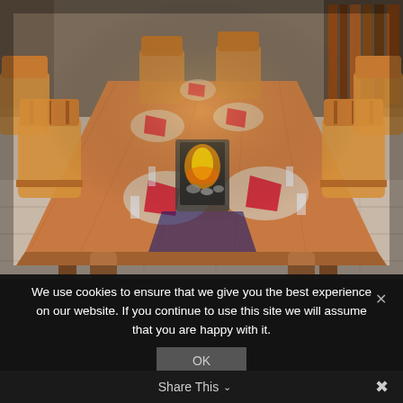[Figure (photo): Overhead view of a long wooden dining table set for many guests, with red napkins on plates, wine glasses, and a central lit fireplace/candle centerpiece. Wooden slat-back chairs surround the table. Light wood flooring visible.]
We use cookies to ensure that we give you the best experience on our website. If you continue to use this site we will assume that you are happy with it.
OK
Share This